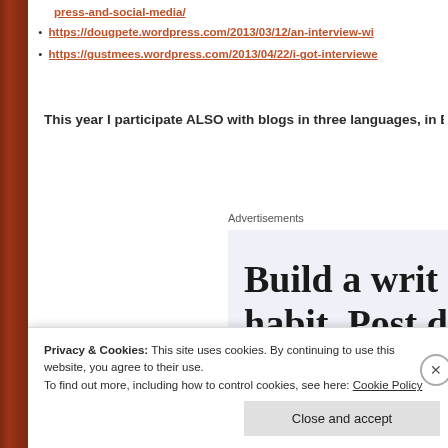press-and-social-media/
https://dougpete.wordpress.com/2013/03/12/an-interview-wi
https://gustmees.wordpress.com/2013/04/22/i-got-interviewe
This year I participate ALSO with blogs in three languages, in B
Advertisements
[Figure (screenshot): Advertisement banner showing text 'Build a writ habit. Post d' on a light blue-grey background]
Privacy & Cookies: This site uses cookies. By continuing to use this website, you agree to their use.
To find out more, including how to control cookies, see here: Cookie Policy
Close and accept